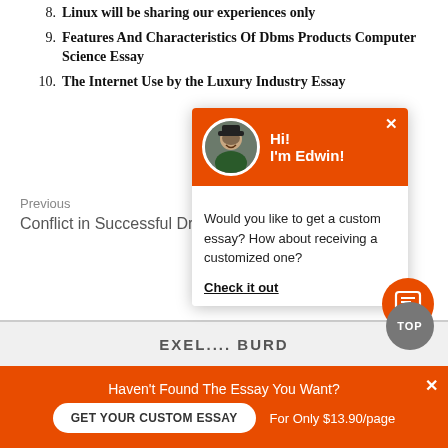8. Linux will be sharing our experiences only
9. Features And Characteristics Of Dbms Products Computer Science Essay
10. The Internet Use by the Luxury Industry Essay
Previous
Conflict in Successful Drama...ay
[Figure (screenshot): Chat popup with avatar of Edwin, orange header saying Hi! I'm Edwin!, and body text: Would you like to get a custom essay? How about receiving a customized one? Check it out]
EXELL...BURD
Haven't Found The Essay You Want?
GET YOUR CUSTOM ESSAY
For Only $13.90/page